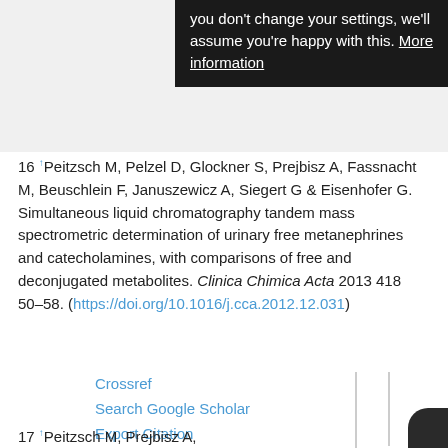you don't change your settings, we'll assume you're happy with this. More information
16 ↑ Peitzsch M, Pelzel D, Glockner S, Prejbisz A, Fassnacht M, Beuschlein F, Januszewicz A, Siegert G & Eisenhofer G. Simultaneous liquid chromatography tandem mass spectrometric determination of urinary free metanephrines and catecholamines, with comparisons of free and deconjugated metabolites. Clinica Chimica Acta 2013 418 50–58. (https://doi.org/10.1016/j.cca.2012.12.031)
Crossref | Search Google Scholar | Export Citation
17 ↑ Peitzsch M, Prejbisz A,